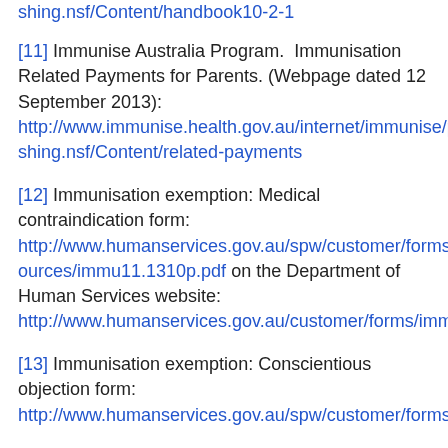shing.nsf/Content/handbook10-2-1
[11] Immunise Australia Program. Immunisation Related Payments for Parents. (Webpage dated 12 September 2013): http://www.immunise.health.gov.au/internet/immunise/publishing.nsf/Content/related-payments
[12] Immunisation exemption: Medical contraindication form: http://www.humanservices.gov.au/spw/customer/forms/resources/immu11.1310p.pdf on the Department of Human Services website: http://www.humanservices.gov.au/customer/forms/immu11
[13] Immunisation exemption: Conscientious objection form: http://www.humanservices.gov.au/spw/customer/forms/res